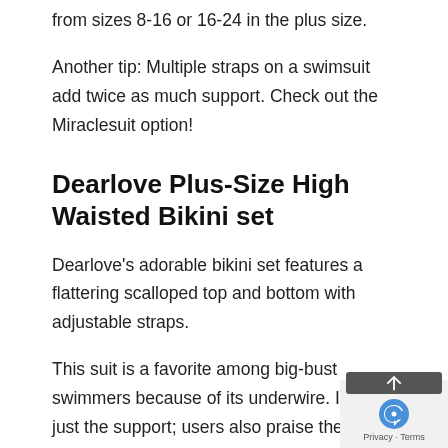from sizes 8-16 or 16-24 in the plus size.
Another tip: Multiple straps on a swimsuit add twice as much support. Check out the Miraclesuit option!
Dearlove Plus-Size High Waisted Bikini set
Dearlove's adorable bikini set features a flattering scalloped top and bottom with adjustable straps.
This suit is a favorite among big-bust swimmers because of its underwire. It's not just the support; users also praise the coverage and the elegant sexy appearance. Available in sizes M-3XL.